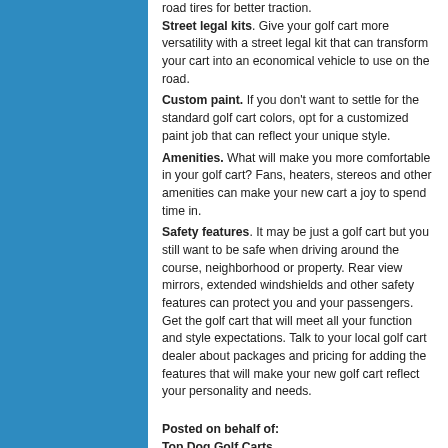road tires for better traction.
Street legal kits. Give your golf cart more versatility with a street legal kit that can transform your cart into an economical vehicle to use on the road.
Custom paint. If you don't want to settle for the standard golf cart colors, opt for a customized paint job that can reflect your unique style.
Amenities. What will make you more comfortable in your golf cart? Fans, heaters, stereos and other amenities can make your new cart a joy to spend time in.
Safety features. It may be just a golf cart but you still want to be safe when driving around the course, neighborhood or property. Rear view mirrors, extended windshields and other safety features can protect you and your passengers.
Get the golf cart that will meet all your function and style expectations. Talk to your local golf cart dealer about packages and pricing for adding the features that will make your new golf cart reflect your personality and needs.
Posted on behalf of:
Top Dog Golf Carts